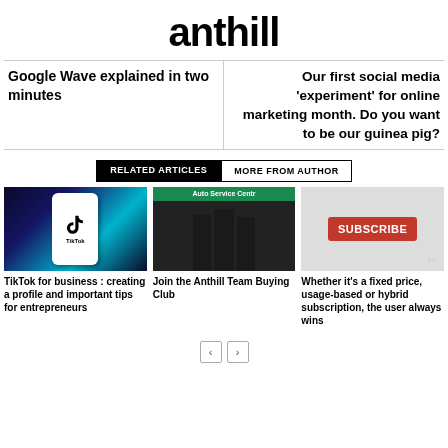anthill
Google Wave explained in two minutes
Our first social media ‘experiment’ for online marketing month. Do you want to be our guinea pig?
RELATED ARTICLES
MORE FROM AUTHOR
[Figure (photo): TikTok app on a smartphone held in hand]
TikTok for business : creating a profile and important tips for entrepreneurs
[Figure (photo): Three people standing in front of an Auto Service Centre]
Join the Anthill Team Buying Club
[Figure (photo): Subscribe button on a screen]
Whether it’s a fixed price, usage-based or hybrid subscription, the user always wins